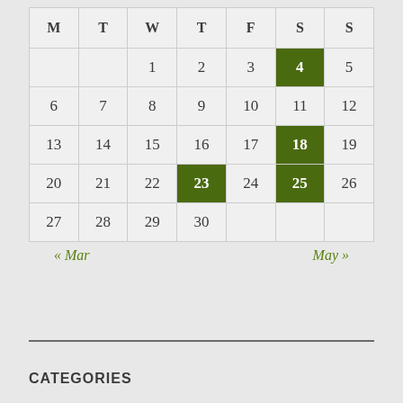| M | T | W | T | F | S | S |
| --- | --- | --- | --- | --- | --- | --- |
|  |  | 1 | 2 | 3 | 4 | 5 |
| 6 | 7 | 8 | 9 | 10 | 11 | 12 |
| 13 | 14 | 15 | 16 | 17 | 18 | 19 |
| 20 | 21 | 22 | 23 | 24 | 25 | 26 |
| 27 | 28 | 29 | 30 |  |  |  |
« Mar    May »
CATEGORIES